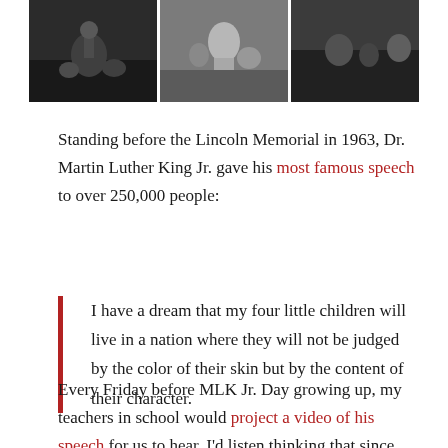[Figure (photo): Black and white photo strip showing historical crowd scenes, likely from civil rights era rallies or speeches.]
Standing before the Lincoln Memorial in 1963, Dr. Martin Luther King Jr. gave his most famous speech to over 250,000 people:
I have a dream that my four little children will live in a nation where they will not be judged by the color of their skin but by the content of their character.
Every Friday before MLK Jr. Day growing up, my teachers in school would project a video of his speech for us to hear. I'd listen thinking that since